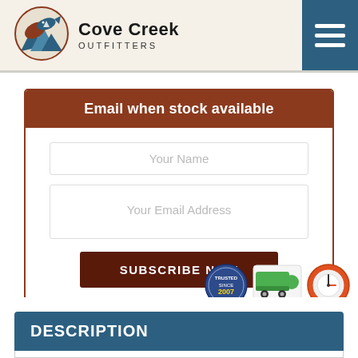[Figure (logo): Cove Creek Outfitters logo with circular emblem showing a fish and mountains]
Cove Creek Outfitters
Email when stock available
Your Name
Your Email Address
SUBSCRIBE NOW
[Figure (infographic): Three trust badges: Trusted Since 2007, Free Shipping truck icon, 24/7 service badge]
DESCRIPTION